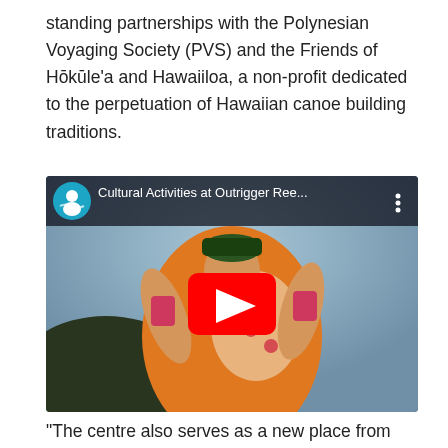standing partnerships with the Polynesian Voyaging Society (PVS) and the Friends of Hōkūle'a and Hawaiiloa, a non-profit dedicated to the perpetuation of Hawaiian canoe building traditions.
[Figure (screenshot): YouTube video thumbnail showing a woman in orange and white floral dress dancing hula, wearing a leaf crown. Video title bar shows 'Cultural Activities at Outrigger Ree...' with YouTube logo and options menu. Large red play button in center.]
“The centre also serves as a new place from which to explore the property’s newest artistic features and original works created by cultural practitioners who are on the